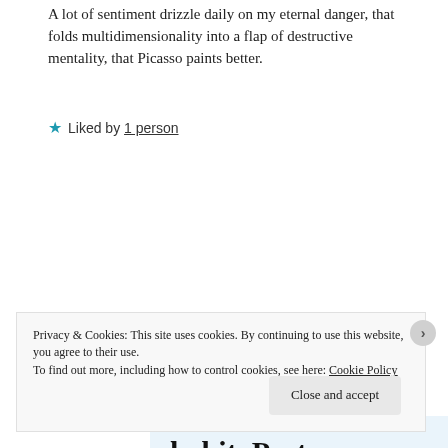A lot of sentiment drizzle daily on my eternal danger, that folds multidimensionality into a flap of destructive mentality, that Picasso paints better.
★ Liked by 1 person
REPLY
[Figure (infographic): WordPress app advertisement banner with text 'habit. Post on the go.' and 'GET THE APP' link with WordPress logo icon on light blue background.]
Privacy & Cookies: This site uses cookies. By continuing to use this website, you agree to their use.
To find out more, including how to control cookies, see here: Cookie Policy
Close and accept